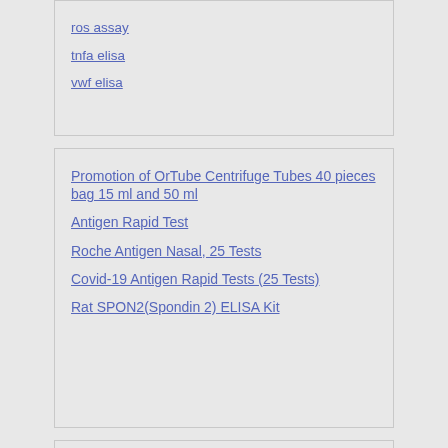ros assay
tnfa elisa
vwf elisa
Promotion of OrTube Centrifuge Tubes 40 pieces bag 15 ml and 50 ml
Antigen Rapid Test
Roche Antigen Nasal, 25 Tests
Covid-19 Antigen Rapid Tests (25 Tests)
Rat SPON2(Spondin 2) ELISA Kit
assay by helo